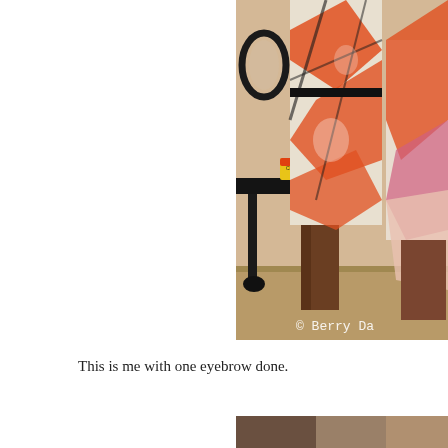[Figure (photo): Partial view of two people standing near a black decorative table with a yellow crayon box on it and a round mirror on the wall. The person on the left wears an orange, white, and black patterned dress with a black belt. Another person partially visible on the right also wears an orange pattern. A watermark reads '© Berry Da' in the bottom right corner of the photo.]
This is me with one eyebrow done.
[Figure (photo): Partial view of the bottom of another photo, showing warm brown tones, beginning to appear at the bottom of the page.]